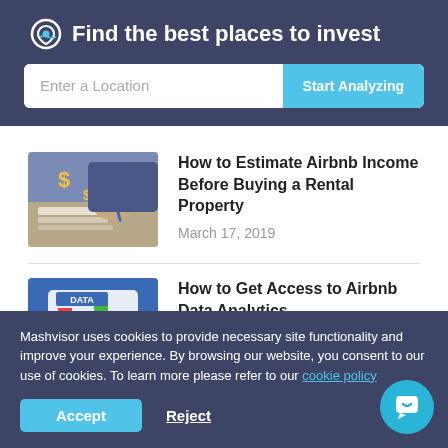Find the best places to invest
[Figure (screenshot): Search bar with 'Enter a Location' placeholder and 'Start Analyzing' teal button]
[Figure (photo): Person holding a pen analyzing financial charts with dollar signs]
How to Estimate Airbnb Income Before Buying a Rental Property
March 17, 2019
[Figure (photo): Tablet showing colorful bar chart with DATA label, on blue background]
How to Get Access to Airbnb Data Analytics
Mashvisor uses cookies to provide necessary site functionality and improve your experience. By browsing our website, you consent to our use of cookies. To learn more please refer to our cookie policy
Accept
Reject